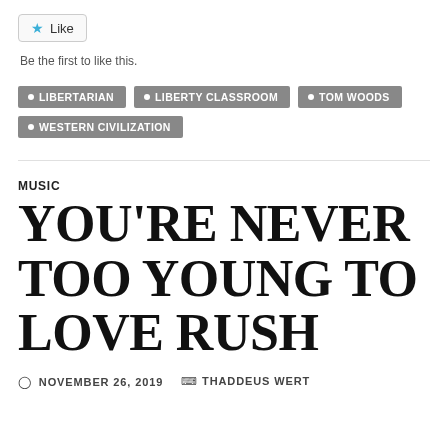[Figure (other): Like button with star icon]
Be the first to like this.
LIBERTARIAN
LIBERTY CLASSROOM
TOM WOODS
WESTERN CIVILIZATION
MUSIC
YOU'RE NEVER TOO YOUNG TO LOVE RUSH
NOVEMBER 26, 2019   THADDEUS WERT